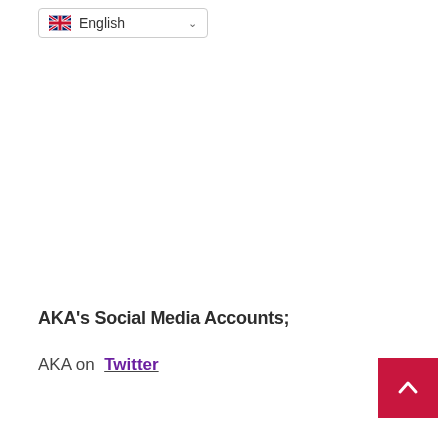English
AKA's Social Media Accounts;
AKA on Twitter